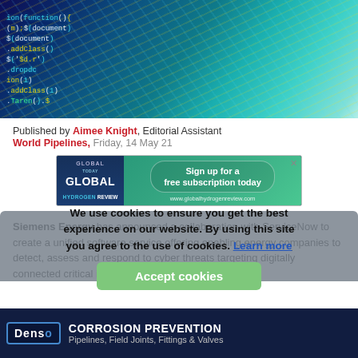[Figure (photo): Close-up photograph of computer source code on a screen, showing colorful JavaScript/programming code in yellow, cyan, white and green colors on a dark blue background.]
Published by Aimee Knight, Editorial Assistant
World Pipelines, Friday, 14 May 21
[Figure (other): Global Hydrogen Review advertisement banner with logo and 'Sign up for a free subscription today' call to action. URL: www.globalhydrogenreview.com]
Siemens Energy has announced a collaboration with ServiceNow to create a unified software service offering enabling energy companies to detect, assess and respond to cyber threats targeting digitally connected critical infrastructure.
We use cookies to ensure you get the best experience on our website. By using this site you agree to the use of cookies. Learn more
[Figure (other): Denso Corrosion Prevention advertisement - Pipelines, Field Joints, Fittings & Valves]